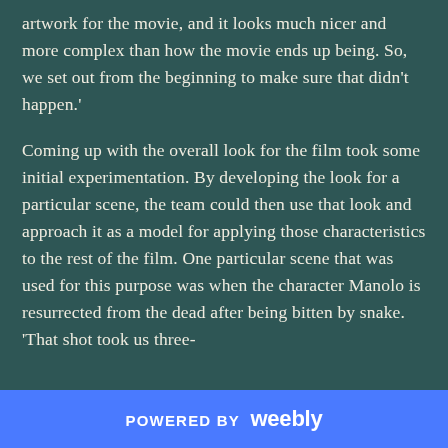artwork for the movie, and it looks much nicer and more complex than how the movie ends up being. So, we set out from the beginning to make sure that didn't happen.'
Coming up with the overall look for the film took some initial experimentation. By developing the look for a particular scene, the team could then use that look and approach it as a model for applying those characteristics to the rest of the film. One particular scene that was used for this purpose was when the character Manolo is resurrected from the dead after being bitten by snake. 'That shot took us three-
POWERED BY weebly